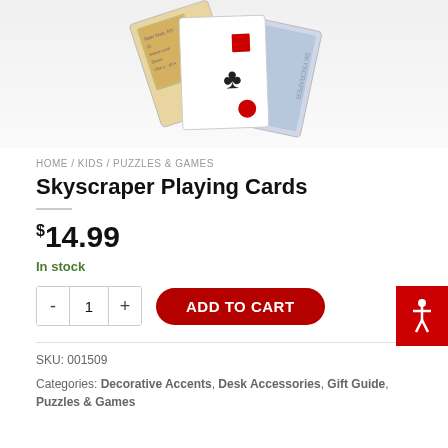[Figure (photo): Product image showing a fan of playing cards with skyscraper/city designs. Cards are fanned out showing illustrated cityscapes, a club symbol, red flag, and red circle motif.]
HOME / KIDS / PUZZLES & GAMES
Skyscraper Playing Cards
$14.99
In stock
ADD TO CART
SKU: 001509
Categories: Decorative Accents, Desk Accessories, Gift Guide, Puzzles & Games